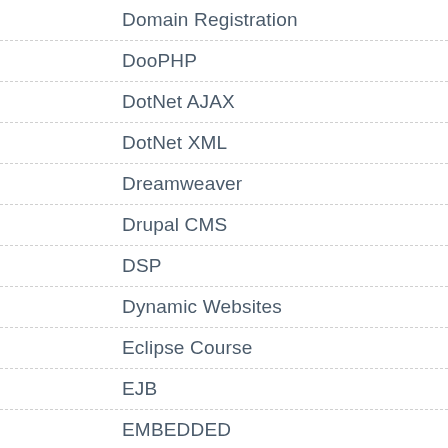Domain Registration
DooPHP
DotNet AJAX
DotNet XML
Dreamweaver
Drupal CMS
DSP
Dynamic Websites
Eclipse Course
EJB
EMBEDDED